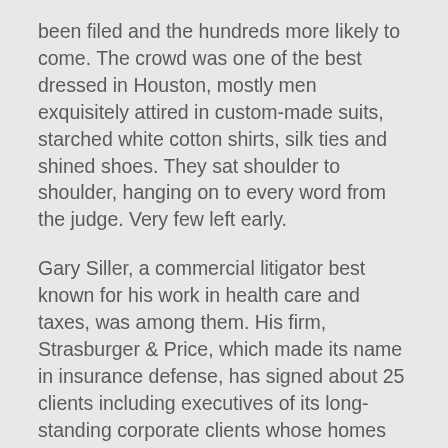been filed and the hundreds more likely to come. The crowd was one of the best dressed in Houston, mostly men exquisitely attired in custom-made suits, starched white cotton shirts, silk ties and shined shoes. They sat shoulder to shoulder, hanging on to every word from the judge. Very few left early.
Gary Siller, a commercial litigator best known for his work in health care and taxes, was among them. His firm, Strasburger & Price, which made its name in insurance defense, has signed about 25 clients including executives of its long-standing corporate clients whose homes flooded.
The likely consolidation would mean that each lawyer doesn't have to prove the release of water affected each client's property, unlike, say environmental cases, in which the path of contamination and the cause of illnesses are